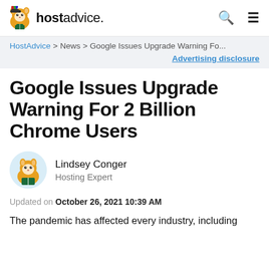hostadvice.
HostAdvice > News > Google Issues Upgrade Warning Fo... Advertising disclosure
Google Issues Upgrade Warning For 2 Billion Chrome Users
Lindsey Conger
Hosting Expert
Updated on October 26, 2021 10:39 AM
The pandemic has affected every industry, including